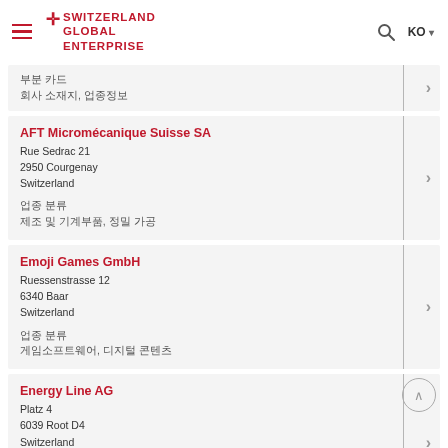Switzerland Global Enterprise — KO
부분 카드
회사 소재지, 업종정보
AFT Micromécanique Suisse SA
Rue Sedrac 21
2950 Courgenay
Switzerland

업종 분류
제조 및 기계부품, 정밀 가공
Emoji Games GmbH
Ruessenstrasse 12
6340 Baar
Switzerland

업종 분류
게임소프트웨어, 디지털 콘텐츠
Energy Line AG
Platz 4
6039 Root D4
Switzerland